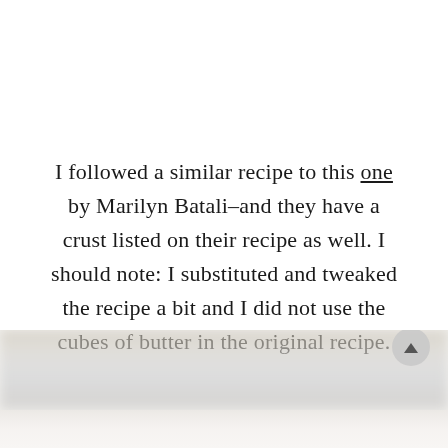I followed a similar recipe to this one by Marilyn Batali–and they have a crust listed on their recipe as well. I should note: I substituted and tweaked the recipe a bit and I did not use the cubes of butter in the original recipe.
[Figure (photo): Blurred photo of kitchen/cooking scene, partially visible at bottom of page with a scroll-to-top button overlay]